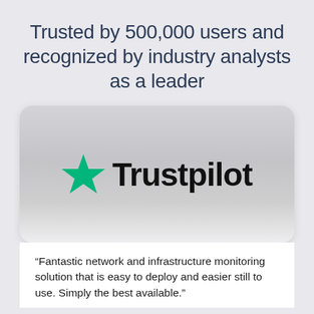Trusted by 500,000 users and recognized by industry analysts as a leader
[Figure (logo): Trustpilot logo with green star and bold black 'Trustpilot' text on a silver/grey gradient card background]
“Fantastic network and infrastructure monitoring solution that is easy to deploy and easier still to use. Simply the best available.”